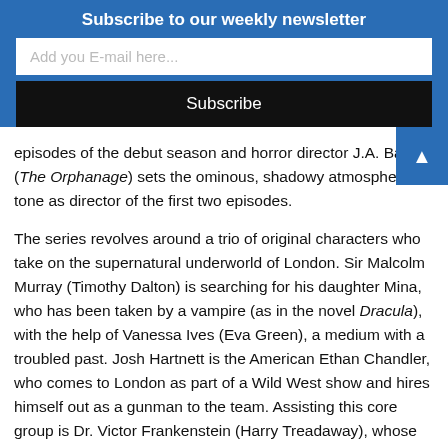Subscribe to our weekly newsletter
Add you E-mail here...
Subscribe
episodes of the debut season and horror director J.A. Bayo (The Orphanage) sets the ominous, shadowy atmosphere and tone as director of the first two episodes.
The series revolves around a trio of original characters who take on the supernatural underworld of London. Sir Malcolm Murray (Timothy Dalton) is searching for his daughter Mina, who has been taken by a vampire (as in the novel Dracula), with the help of Vanessa Ives (Eva Green), a medium with a troubled past. Josh Hartnett is the American Ethan Chandler, who comes to London as part of a Wild West show and hires himself out as a gunman to the team. Assisting this core group is Dr. Victor Frankenstein (Harry Treadaway), whose first experiment in the reanimation of human flesh (Rory Kinnear) has returned to demand a mate, and weaving through their stories is the decadent and eternally young Dorian Gray (Reeve Carney), who woos Vanessa.